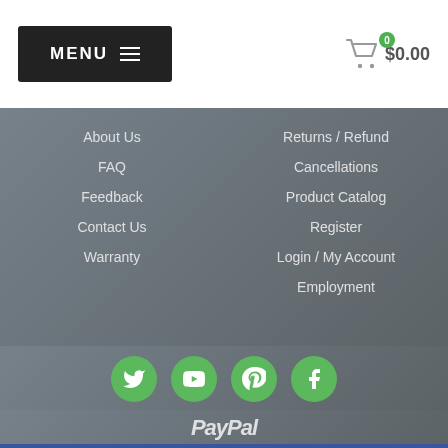MENU  $0.00
About Us
FAQ
Feedback
Contact Us
Warranty
Returns / Refund
Cancellations
Product Catalog
Register
Login / My Account
Employment
[Figure (illustration): Social media icons: Twitter, YouTube, Pinterest, Facebook — green circles]
PayPal
Bulk Discounts + Free Shipping = Pro's Advantage
Learn More